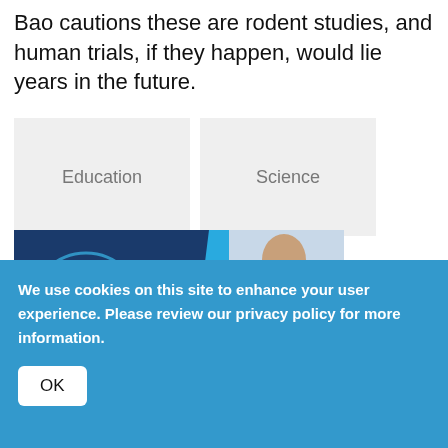Bao cautions these are rodent studies, and human trials, if they happen, would lie years in the future.
Education
Science
[Figure (photo): Group 91.Five advertisement banner with logo and a person writing, text 'Connecting']
We use cookies on this site to enhance your user experience. Please review our privacy policy for more information.
OK